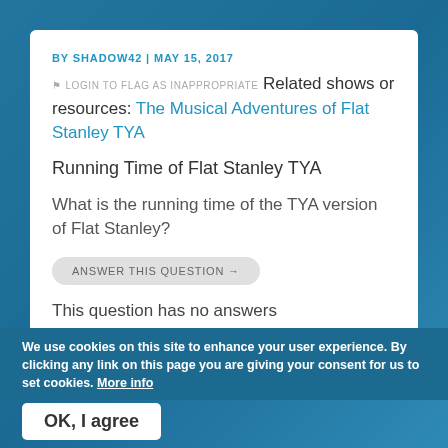BY SHADOW42 | MAY 15, 2017
LOGIN TO FLAG AS INAPPROPRIATE Related shows or resources: The Musical Adventures of Flat Stanley TYA
Running Time of Flat Stanley TYA
What is the running time of the TYA version of Flat Stanley?
ANSWER THIS QUESTION →
This question has no answers
We use cookies on this site to enhance your user experience. By clicking any link on this page you are giving your consent for us to set cookies. More info
OK, I agree